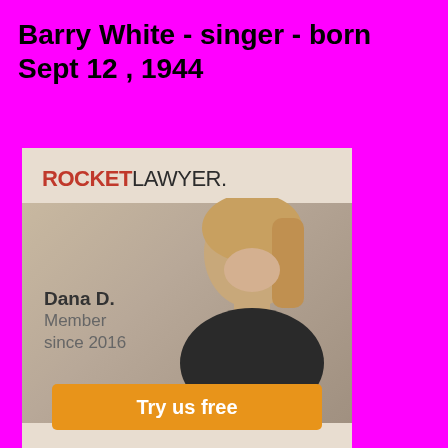Barry White - singer - born Sept 12 , 1944
[Figure (photo): Rocket Lawyer advertisement featuring a smiling woman named Dana D., Member since 2016, with a 'Try us free' orange button]